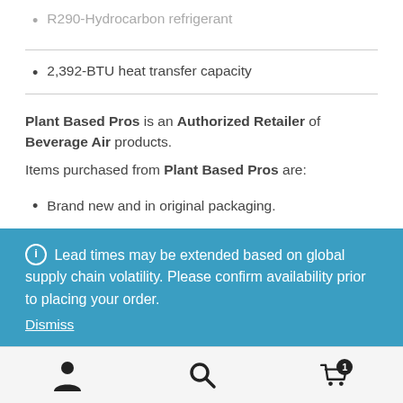R290-Hydrocarbon refrigerant (partially visible)
2,392-BTU heat transfer capacity
Plant Based Pros is an Authorized Retailer of Beverage Air products.
Items purchased from Plant Based Pros are:
Brand new and in original packaging.
Covered by the full manufacturer warranty.
Qualified for manufacturer service and support. (partially visible)
Lead times may be extended based on global supply chain volatility. Please confirm availability prior to placing your order.
Dismiss